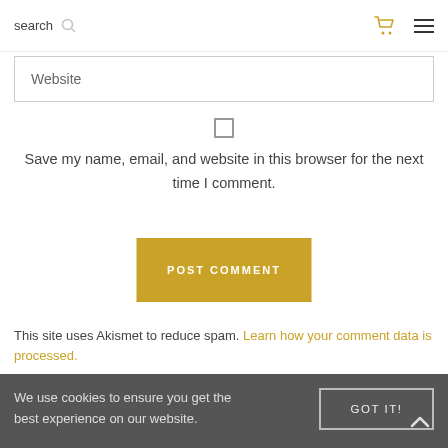search [search icon] [cart icon] [menu icon]
Website
[Figure (other): Checkbox (unchecked)]
Save my name, email, and website in this browser for the next time I comment.
POST COMMENT
This site uses Akismet to reduce spam. Learn how your comment data is processed.
We use cookies to ensure you get the best experience on our website.
GOT IT!